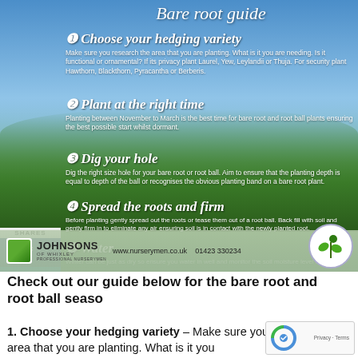[Figure (infographic): Bare root guide infographic with sky and hedge background. Shows 5 numbered steps: 1) Choose your hedging variety, 2) Plant at the right time, 3) Dig your hole, 4) Spread the roots and firm, 5) Water. Bottom bar shows Johnsons of Whixley logo, website www.nurserymen.co.uk, phone 01423 330234, and green plant logo.]
Check out our guide below for the bare root and root ball seaso
1. Choose your hedging variety – Make sure you research the area that you are planting. What is it you